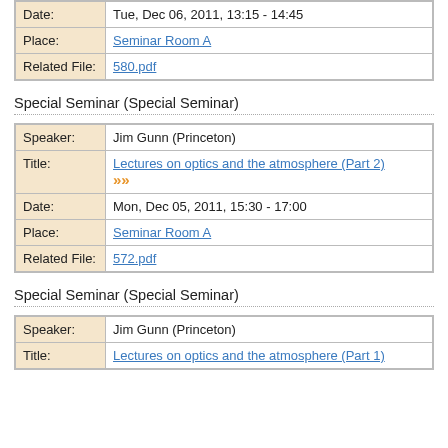| Date: | Tue, Dec 06, 2011, 13:15 - 14:45 |
| Place: | Seminar Room A |
| Related File: | 580.pdf |
Special Seminar (Special Seminar)
| Speaker: | Jim Gunn (Princeton) |
| Title: | Lectures on optics and the atmosphere (Part 2) »» |
| Date: | Mon, Dec 05, 2011, 15:30 - 17:00 |
| Place: | Seminar Room A |
| Related File: | 572.pdf |
Special Seminar (Special Seminar)
| Speaker: | Jim Gunn (Princeton) |
| Title: | Lectures on optics and the atmosphere (Part 1) |